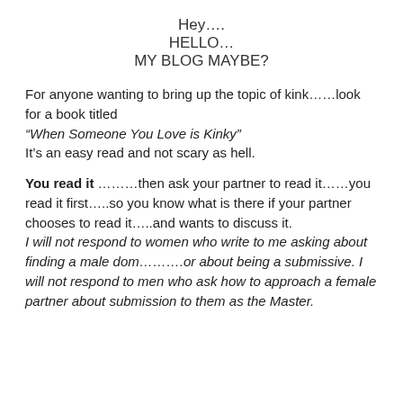Hey….
HELLO…
MY BLOG MAYBE?
For anyone wanting to bring up the topic of kink……look for a book titled
“When Someone You Love is Kinky”
It’s an easy read and not scary as hell.
You read it ………then ask your partner to read it……you read it first…..so you know what is there if your partner chooses to read it…..and wants to discuss it.
I will not respond to women who write to me asking about finding a male dom……….or about being a submissive. I will not respond to men who ask how to approach a female partner about submission to them as the Master.